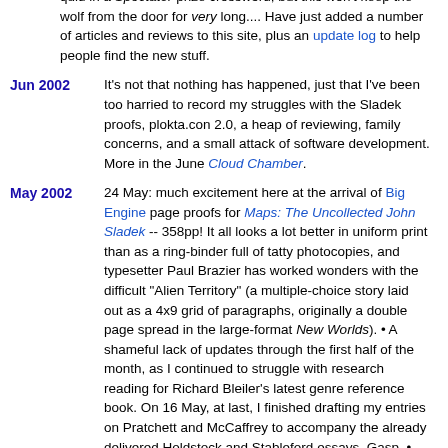but the first batch of covers came out wrong and the printers are having another go. A certain smugness at winning twenty quid in a Spectator prize crossword, but this won't keep the wolf from the door for very long.... Have just added a number of articles and reviews to this site, plus an update log to help people find the new stuff.
Jun 2002 It's not that nothing has happened, just that I've been too harried to record my struggles with the Sladek proofs, plokta.con 2.0, a heap of reviewing, family concerns, and a small attack of software development. More in the June Cloud Chamber.
May 2002 24 May: much excitement here at the arrival of Big Engine page proofs for Maps: The Uncollected John Sladek -- 358pp! It all looks a lot better in uniform print than as a ring-binder full of tatty photocopies, and typesetter Paul Brazier has worked wonders with the difficult "Alien Territory" (a multiple-choice story laid out as a 4x9 grid of paragraphs, originally a double page spread in the large-format New Worlds). • A shameful lack of updates through the first half of the month, as I continued to struggle with research reading for Richard Bleiler's latest genre reference book. On 16 May, at last, I finished drafting my entries on Pratchett and McCaffrey to accompany the already delivered Holdstock and Stableford essays. Gasp. • The usual columns and things continue. I don't think I've yet mentioned here that weekly previews of upcoming Ansible news and gossip now appear in Eileen Gunn's webzine The Infinite Matrix -- sometimes including stuff that gets squeezed out of the monthly Ansible. Tremble in your shoes, completists!